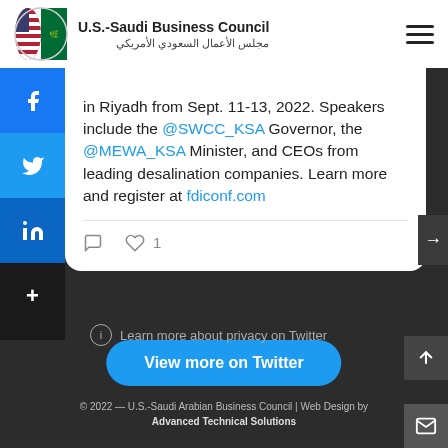U.S.-Saudi Business Council / مجلس الأعمال السعودي الأمريكي
in Riyadh from Sept. 11-13, 2022. Speakers include the @SWCC_KSA Governor, the @MEWA_KSA Minister, and CEOs from leading desalination companies. Learn more and register at fdiconf.com
View more on Twitter
Learn more about privacy on Twitter
© 2022 — U.S.-Saudi Arabian Business Council | Web Design by Advanced Technical Solutions